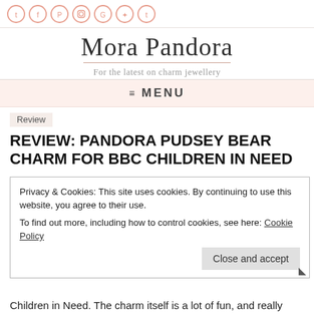Social media icons: Twitter, Facebook, Pinterest, Instagram, Google+, Unknown, Tumblr
Mora Pandora — For the latest on charm jewellery
≡ MENU
Review
REVIEW: PANDORA PUDSEY BEAR CHARM FOR BBC CHILDREN IN NEED
Privacy & Cookies: This site uses cookies. By continuing to use this website, you agree to their use. To find out more, including how to control cookies, see here: Cookie Policy
Children in Need. The charm itself is a lot of fun, and really